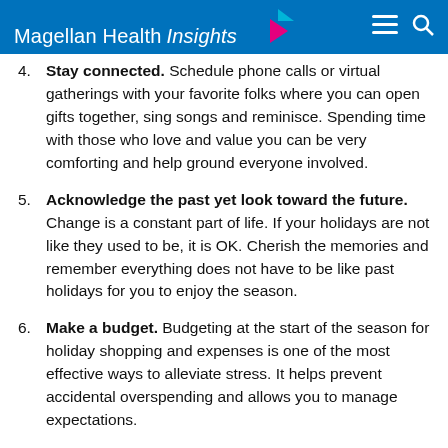Magellan Health Insights
4. Stay connected. Schedule phone calls or virtual gatherings with your favorite folks where you can open gifts together, sing songs and reminisce. Spending time with those who love and value you can be very comforting and help ground everyone involved.
5. Acknowledge the past yet look toward the future. Change is a constant part of life. If your holidays are not like they used to be, it is OK. Cherish the memories and remember everything does not have to be like past holidays for you to enjoy the season.
6. Make a budget. Budgeting at the start of the season for holiday shopping and expenses is one of the most effective ways to alleviate stress. It helps prevent accidental overspending and allows you to manage expectations.
Want more tips for beating the holiday blues?
Visit the Magellan Healthcare holiday emotional wellbeing website for resources to help you find peace and moments of joy